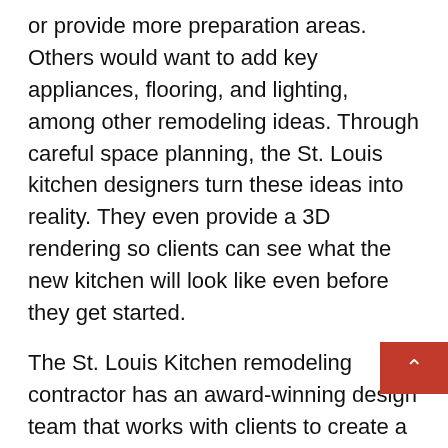or provide more preparation areas. Others would want to add key appliances, flooring, and lighting, among other remodeling ideas. Through careful space planning, the St. Louis kitchen designers turn these ideas into reality. They even provide a 3D rendering so clients can see what the new kitchen will look like even before they get started.
The St. Louis Kitchen remodeling contractor has an award-winning design team that works with clients to create a layout that optimizes the room for the family while also being efficiently functional. The designers, project managers, and craftsmen bring many years of experience in the industry. They combine expertise in space planning, creative vision, and innovative building methods for the perfect outcome. The company spokesperson had this to say about their kitchen remodeling process, "We do not only design and build, but we also guide our clients